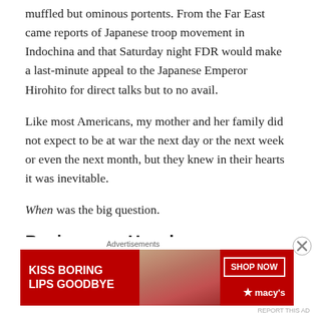muffled but ominous portents. From the Far East came reports of Japanese troop movement in Indochina and that Saturday night FDR would make a last-minute appeal to the Japanese Emperor Hirohito for direct talks but to no avail.
Like most Americans, my mother and her family did not expect to be at war the next day or the next week or even the next month, but they knew in their hearts it was inevitable.
When was the big question.
Business as Usual
[Figure (other): Advertisement banner for Macy's with red background reading 'KISS BORING LIPS GOODBYE' and 'SHOP NOW' button with Macy's star logo]
Advertisements